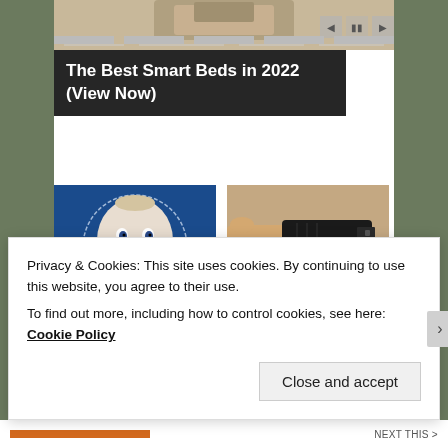[Figure (screenshot): Top portion of a web page showing a partially visible product image (smart bed) with navigation arrows and a dark overlay title bar reading 'The Best Smart Beds in 2022 (View Now)']
The Best Smart Beds in 2022 (View Now)
[Figure (photo): Illustration of a surprised baby face on a blue background (Almost Nobody Has Passed This Classic...)]
[Figure (photo): Photo of a hand holding a black electrical plug with two prongs ([Pics] Plugs Always Have Two Holes...)]
Almost Nobody Has Passed This Classic...
[Pics] Plugs Always Have Them, Too...
Privacy & Cookies: This site uses cookies. By continuing to use this website, you agree to their use.
To find out more, including how to control cookies, see here: Cookie Policy
Close and accept